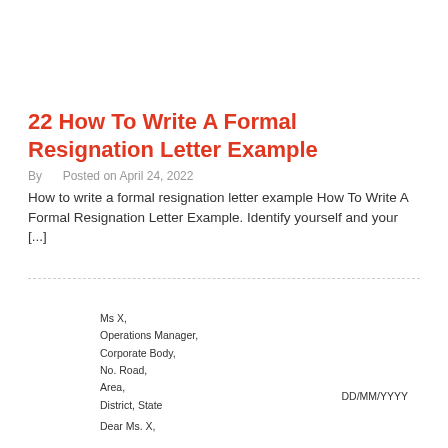22 How To Write A Formal Resignation Letter Example
By  Posted on April 24, 2022
How to write a formal resignation letter example How To Write A Formal Resignation Letter Example. Identify yourself and your [...]
Ms X,
Operations Manager,
Corporate Body,
No. Road,
Area,
District, State

Dear Ms. X,
DD/MM/YYYY